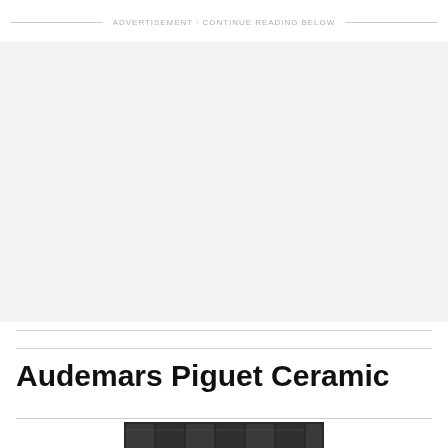ADVERTISEMENT · CONTINUE READING BELOW
[Figure (other): Gray advertisement placeholder box]
Audemars Piguet Ceramic
[Figure (photo): Partial view of a dark ceramic Audemars Piguet watch bracelet/strap from below the title]